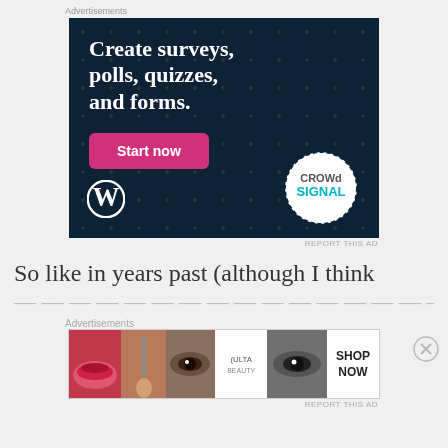Advertisements
[Figure (illustration): Crowdsignal ad banner on dark navy background with dot pattern. Text reads 'Create surveys, polls, quizzes, and forms.' with a pink 'Start now' button, WordPress logo bottom left, Crowdsignal badge bottom right.]
REPORT THIS AD
So like in years past (although I think
Advertisements
[Figure (illustration): Ulta Beauty advertisement banner showing makeup/beauty product images across multiple panels with 'SHOP NOW' text on the right.]
REPORT THIS AD